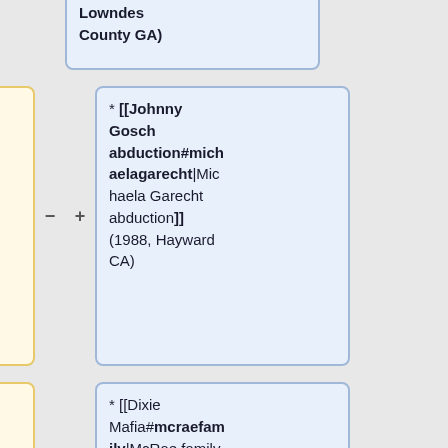Lowndes County GA)
* [[Dixie Mafia#Other curiosities|McRae family murders]] (1989, Graceville FL)
* [[Johnny Gosch abduction#michaelagarecht|Michaela Garecht abduction]] (1988, Hayward CA)
* Jacob Wetterling abduction (1989, St. Joseph MN)
* [[Dixie Mafia#mcraefamily|McRae family murders]] (1989, Graceville FL)
* Jakeob McKnight murder (1991, Lakewood CO)
* [[Mind control programs#Matamoros cult murders|Mark Kilroy murder]] (1989,